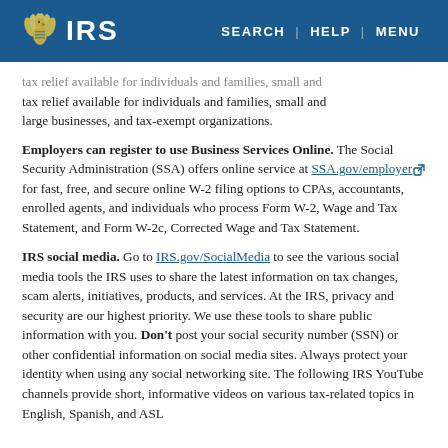IRS | SEARCH | HELP | MENU
tax relief available for individuals and families, small and large businesses, and tax-exempt organizations.
Employers can register to use Business Services Online. The Social Security Administration (SSA) offers online service at SSA.gov/employer for fast, free, and secure online W-2 filing options to CPAs, accountants, enrolled agents, and individuals who process Form W-2, Wage and Tax Statement, and Form W-2c, Corrected Wage and Tax Statement.
IRS social media. Go to IRS.gov/SocialMedia to see the various social media tools the IRS uses to share the latest information on tax changes, scam alerts, initiatives, products, and services. At the IRS, privacy and security are our highest priority. We use these tools to share public information with you. Don't post your social security number (SSN) or other confidential information on social media sites. Always protect your identity when using any social networking site. The following IRS YouTube channels provide short, informative videos on various tax-related topics in English, Spanish, and ASL